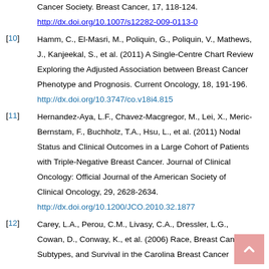Cancer Society. Breast Cancer, 17, 118-124. http://dx.doi.org/10.1007/s12282-009-0113-0
[10] Hamm, C., El-Masri, M., Poliquin, G., Poliquin, V., Mathews, J., Kanjeekal, S., et al. (2011) A Single-Centre Chart Review Exploring the Adjusted Association between Breast Cancer Phenotype and Prognosis. Current Oncology, 18, 191-196. http://dx.doi.org/10.3747/co.v18i4.815
[11] Hernandez-Aya, L.F., Chavez-Macgregor, M., Lei, X., Meric-Bernstam, F., Buchholz, T.A., Hsu, L., et al. (2011) Nodal Status and Clinical Outcomes in a Large Cohort of Patients with Triple-Negative Breast Cancer. Journal of Clinical Oncology: Official Journal of the American Society of Clinical Oncology, 29, 2628-2634. http://dx.doi.org/10.1200/JCO.2010.32.1877
[12] Carey, L.A., Perou, C.M., Livasy, C.A., Dressler, L.G., Cowan, D., Conway, K., et al. (2006) Race, Breast Cancer Subtypes, and Survival in the Carolina Breast Cancer